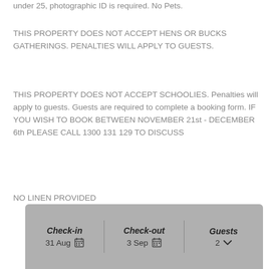under 25, photographic ID is required. No Pets.
THIS PROPERTY DOES NOT ACCEPT HENS OR BUCKS GATHERINGS. PENALTIES WILL APPLY TO GUESTS.
THIS PROPERTY DOES NOT ACCEPT SCHOOLIES. Penalties will apply to guests. Guests are required to complete a booking form. IF YOU WISH TO BOOK BETWEEN NOVEMBER 21st - DECEMBER 6th PLEASE CALL 1300 131 129 TO DISCUSS
NO LINEN PROVIDED
| Check-in | Check-out | Guests |
| --- | --- | --- |
| 31 Aug | 3 Sep | 2 |